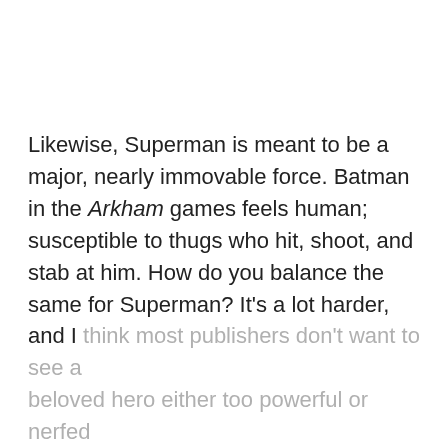Likewise, Superman is meant to be a major, nearly immovable force. Batman in the Arkham games feels human; susceptible to thugs who hit, shoot, and stab at him. How do you balance the same for Superman? It's a lot harder, and I think most publishers don't want to see a beloved hero either too powerful or nerfed